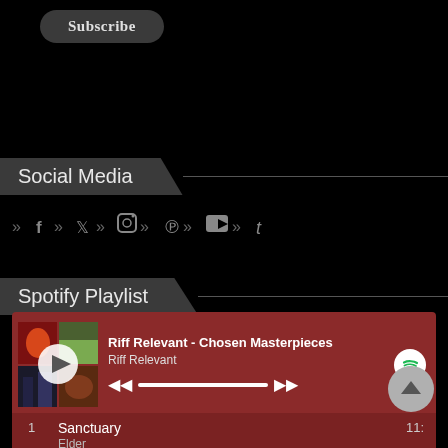Subscribe
Social Media
[Figure (other): Social media icons row: Facebook, Twitter, Instagram, Pinterest, YouTube, Tumblr with chevron separators]
Spotify Playlist
[Figure (other): Spotify playlist widget showing 'Riff Relevant - Chosen Masterpieces' by Riff Relevant with playback controls and album art collage]
1  Sanctuary  11:
Elder
2  Molecule  7:05